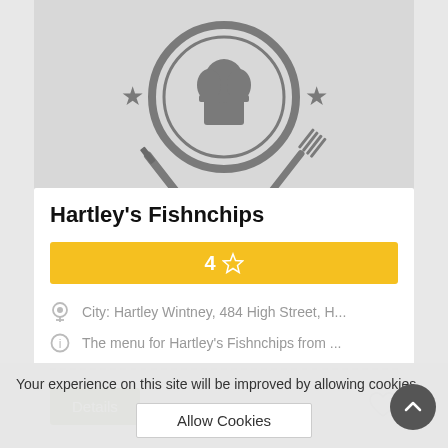[Figure (logo): Restaurant logo with a chef hat inside a circle, crossed knife and fork, and two stars on either side.]
Hartley's Fishnchips
4 ☆
City: Hartley Wintney, 484 High Street, H...
The menu for Hartley's Fishnchips from ...
Details
Your experience on this site will be improved by allowing cookies.
Allow Cookies